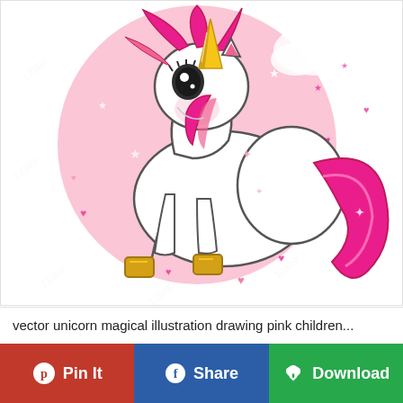[Figure (illustration): Cartoon vector illustration of a cute baby unicorn with pink mane and tail, gold hooves, golden horn, lying down on a cloud-like surface, surrounded by pink hearts and stars, on a round pink background with sparkles.]
vector unicorn magical illustration drawing pink children...
Pin It
Share
Download